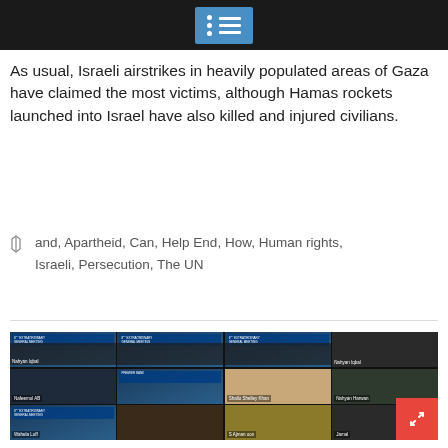[Navigation menu bar]
As usual, Israeli airstrikes in heavily populated areas of Gaza have claimed the most victims, although Hamas rockets launched into Israel have also killed and injured civilians.
and, Apartheid, Can, Help End, How, Human rights, Israeli, Persecution, The UN
[Figure (photo): Video conference screenshot showing multiple participants in a grid layout, appearing to be an online meeting with 12 participants visible in 3 rows of 4 video tiles. Each tile shows a banner with what appears to be '8th Extraordinary General Meeting / 22nd Annual General Meeting' text and Premier Bank branding.]